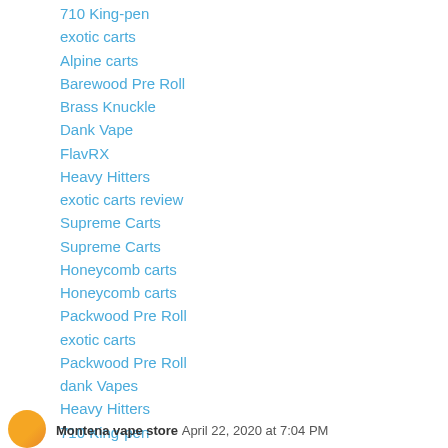710 King-pen
exotic carts
Alpine carts
Barewood Pre Roll
Brass Knuckle
Dank Vape
FlavRX
Heavy Hitters
exotic carts review
Supreme Carts
Supreme Carts
Honeycomb carts
Honeycomb carts
Packwood Pre Roll
exotic carts
Packwood Pre Roll
dank Vapes
Heavy Hitters
710 King-pen
Reply
Montena vape store  April 22, 2020 at 7:04 PM